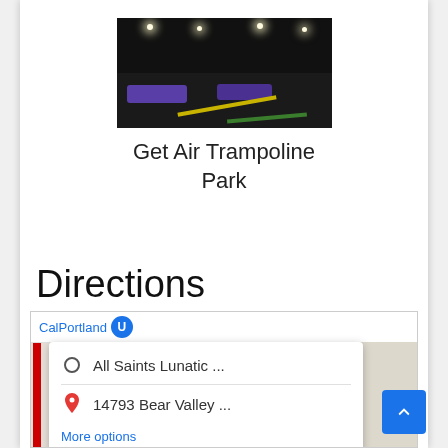[Figure (photo): Indoor trampoline park with dark ceiling, bright overhead lights, purple trampolines, and yellow/green floor lines]
Get Air Trampoline Park
Directions
[Figure (map): Google Maps directions popup showing: origin 'All Saints Lunatic ...' and destination '14793 Bear Valley ...' with a 'More options' link. Map background visible with CalPortland label.]